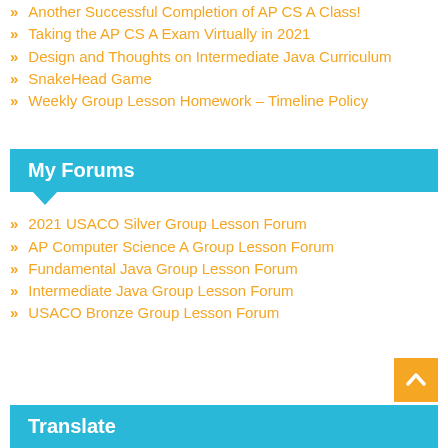Another Successful Completion of AP CS A Class!
Taking the AP CS A Exam Virtually in 2021
Design and Thoughts on Intermediate Java Curriculum
SnakeHead Game
Weekly Group Lesson Homework – Timeline Policy
My Forums
2021 USACO Silver Group Lesson Forum
AP Computer Science A Group Lesson Forum
Fundamental Java Group Lesson Forum
Intermediate Java Group Lesson Forum
USACO Bronze Group Lesson Forum
Translate